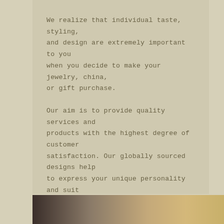We realize that individual taste, styling, and design are extremely important to you when you decide to make your jewelry, china, or gift purchase.
Our aim is to provide quality services and products with the highest degree of customer satisfaction. Our globally sourced designs help to express your unique personality and suit your lifestyle.
We will personally help you select the exact style and design that will celebrate your important occasions and milestones. We cherish you allowing us to be a part of the most important moments.
[Figure (photo): Photo strip at the bottom showing decorative items or jewelry in warm tones]